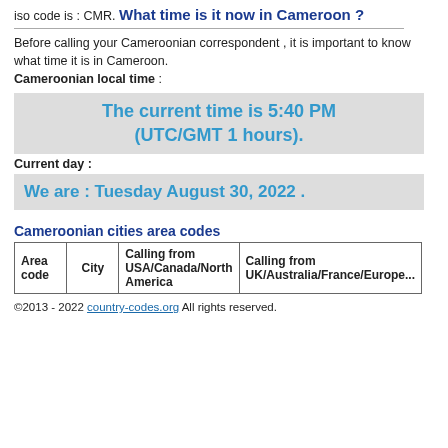iso code is : CMR.
What time is it now in Cameroon ?
Before calling your Cameroonian correspondent , it is important to know what time it is in Cameroon.
Cameroonian local time :
[Figure (infographic): Gray box displaying: The current time is 5:40 PM (UTC/GMT 1 hours).]
Current day :
[Figure (infographic): Gray box displaying: We are : Tuesday August 30, 2022 .]
Cameroonian cities area codes
| Area code | City | Calling from USA/Canada/North America | Calling from UK/Australia/France/Europe... |
| --- | --- | --- | --- |
©2013 - 2022 country-codes.org All rights reserved.